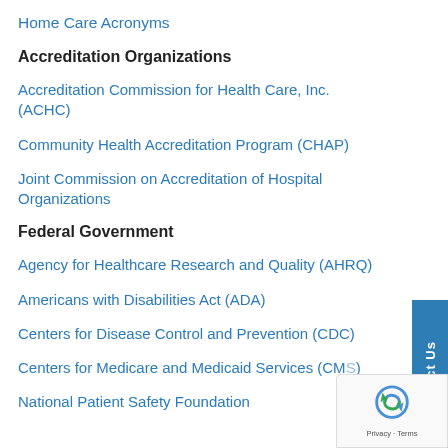Home Care Acronyms
Accreditation Organizations
Accreditation Commission for Health Care, Inc. (ACHC)
Community Health Accreditation Program (CHAP)
Joint Commission on Accreditation of Hospital Organizations
Federal Government
Agency for Healthcare Research and Quality (AHRQ)
Americans with Disabilities Act (ADA)
Centers for Disease Control and Prevention (CDC)
Centers for Medicare and Medicaid Services (CMS)
National Patient Safety Foundation